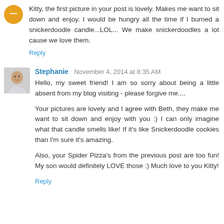Kitty, the first picture in your post is lovely. Makes me want to sit down and enjoy. I would be hungry all the time if I burned a snickerdoodle candle...LOL... We make snickerdoodles a lot cause we love them.
Reply
Stephanie  November 4, 2014 at 8:35 AM
Hello, my sweet friend! I am so sorry about being a little absent from my blog visiting - please forgive me....
Your pictures are lovely and I agree with Beth, they make me want to sit down and enjoy with you :) I can only imagine what that candle smells like! If it's like Snickerdoodle cookies than I'm sure it's amazing.
Also, your Spider Pizza's from the previous post are too fun! My son would definitely LOVE those :) Much love to you Kitty!
Reply